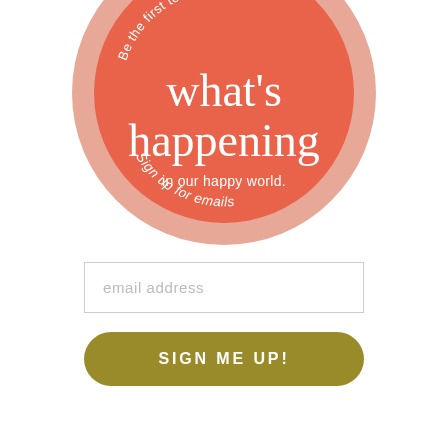[Figure (illustration): A coral/salmon-colored circle with a lighter pink outer ring. Inside the circle are white text elements arranged as: curved text at top reading 'Be the first to know', large serif text in center reading 'what's happening', smaller text reading 'in our happy world.', and curved text at bottom reading 'Sign up for emails'.]
email address
SIGN ME UP!